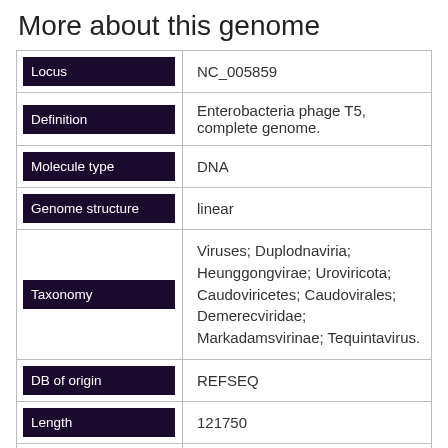More about this genome
| Field | Value |
| --- | --- |
| Locus | NC_005859 |
| Definition | Enterobacteria phage T5, complete genome. |
| Molecule type | DNA |
| Genome structure | linear |
| Taxonomy | Viruses; Duplodnaviria; Heunggongvirae; Uroviricota; Caudoviricetes; Caudovirales; Demerecviridae; Markadamsvirinae; Tequintavirus. |
| DB of origin | REFSEQ |
| Length | 121750 |
| Host Name | Escherichia coli |
| Host domain | Bacteria |